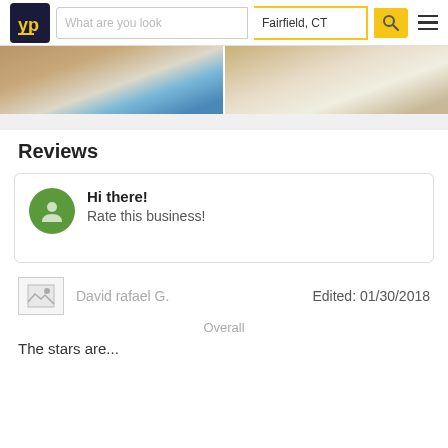[Figure (screenshot): YellowPages navigation bar with logo, search fields for 'What are you look' and 'Fairfield, CT', yellow search button, and hamburger menu]
[Figure (photo): Two moving/packing photos side by side: left shows blue moving blankets and boxes, right shows cardboard boxes and flat-pack furniture]
Reviews
[Figure (screenshot): Review prompt card with green user avatar icon, text 'Hi there! Rate this business!']
[Figure (screenshot): Broken image placeholder for reviewer David rafael G.]
David rafael G.
Edited: 01/30/2018
Overall
The stars are...